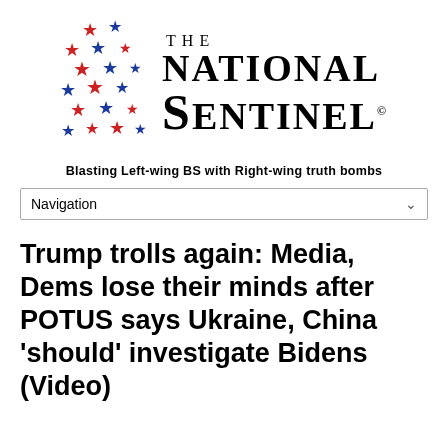[Figure (logo): The National Sentinel logo with red and blue stars on the left and bold serif text reading THE NATIONAL SENTINEL with copyright symbol]
Blasting Left-wing BS with Right-wing truth bombs
Navigation
Trump trolls again: Media, Dems lose their minds after POTUS says Ukraine, China 'should' investigate Bidens (Video)